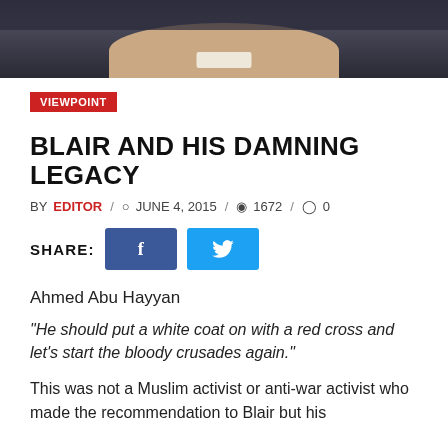[Figure (photo): Cropped photo showing the lower portion of a man's face against a dark background]
VIEWPOINT
BLAIR AND HIS DAMNING LEGACY
BY EDITOR / JUNE 4, 2015 / 1672 / 0
SHARE: [Facebook button] [Twitter button]
Ahmed Abu Hayyan
“He should put a white coat on with a red cross and let’s start the bloody crusades again.”
This was not a Muslim activist or anti-war activist who made the recommendation to Blair but his